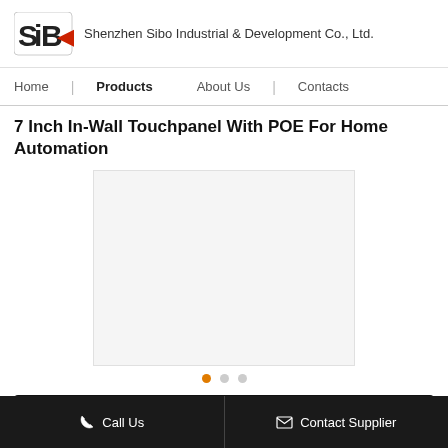Shenzhen Sibo Industrial & Development Co., Ltd.
Home | Products | About Us | Contacts
7 Inch In-Wall Touchpanel With POE For Home Automation
[Figure (photo): Product image placeholder — white/light grey rectangular product photo area with image carousel dots below (orange dot active, two grey dots)]
Contact Supplier
Call Us   Contact Supplier